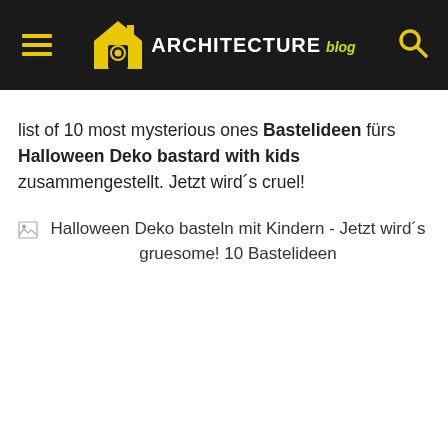ARCHITECTURE blog
list of 10 most mysterious ones Bastelideen fürs Halloween Deko bastard with kids zusammengestellt. Jetzt wird´s cruel!
[Figure (photo): Broken image placeholder with alt text: Halloween Deko basteln mit Kindern - Jetzt wird´s gruesome! 10 Bastelideen]